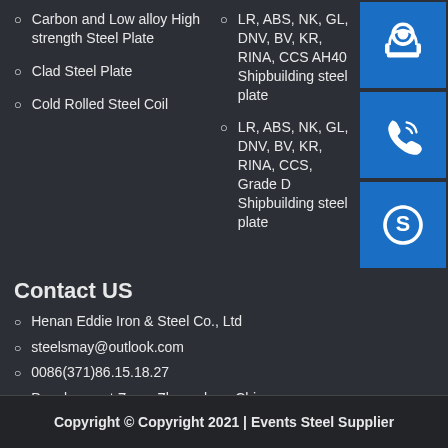Carbon and Low alloy High strength Steel Plate
Clad Steel Plate
Cold Rolled Steel Coil
LR, ABS, NK, GL, DNV, BV, KR, RINA, CCS AH40 Shipbuilding steel plate
LR, ABS, NK, GL, DNV, BV, KR, RINA, CCS, Grade D Shipbuilding steel plate
[Figure (infographic): Three blue icon boxes stacked vertically on the right: headset/support icon, phone/call icon, Skype icon]
Contact US
Henan Eddie Iron & Steel Co., Ltd
steelsmay@outlook.com
0086(371)86.15.18.27
Development Zone, Zhengzhou, China
Copyright © Copyright 2021 | Events Steel Supplier